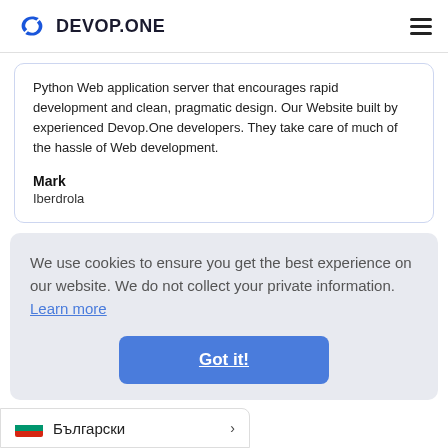DEVOP.ONE
Python Web application server that encourages rapid development and clean, pragmatic design. Our Website built by experienced Devop.One developers. They take care of much of the hassle of Web development.
Mark
Iberdrola
We use cookies to ensure you get the best experience on our website. We do not collect your private information. Learn more
Got it!
Български